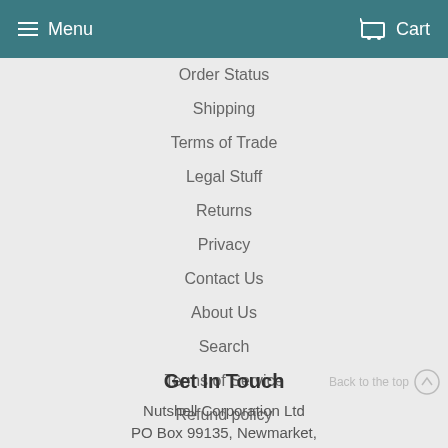Menu  Cart
Order Status
Shipping
Terms of Trade
Legal Stuff
Returns
Privacy
Contact Us
About Us
Search
Terms of Service
Refund policy
Get In Touch
Nutshell Corporation Ltd
PO Box 99135, Newmarket,